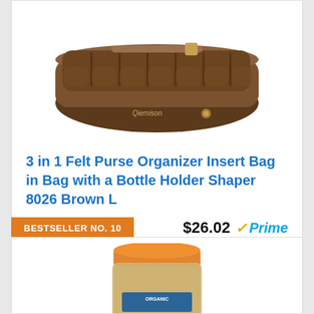[Figure (photo): Brown felt purse organizer insert bag with multiple pockets and a zipper, shown from above]
3 in 1 Felt Purse Organizer Insert Bag in Bag with a Bottle Holder Shaper 8026 Brown L
$26.02 ✓Prime
🛒 Buy on Amazon
BESTSELLER NO. 10
[Figure (photo): Jar of organic product with orange lid, partially visible]